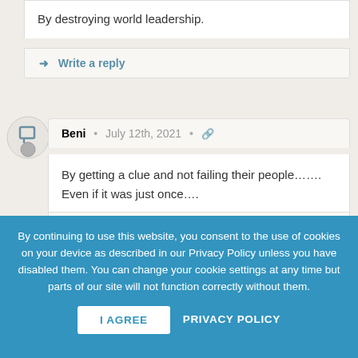By destroying world leadership.
➜ Write a reply
Beni • July 12th, 2021 • 🔗
By getting a clue and not failing their people……. Even if it was just once….
➜ Write a reply
By continuing to use this website, you consent to the use of cookies on your device as described in our Privacy Policy unless you have disabled them. You can change your cookie settings at any time but parts of our site will not function correctly without them.
I AGREE
PRIVACY POLICY